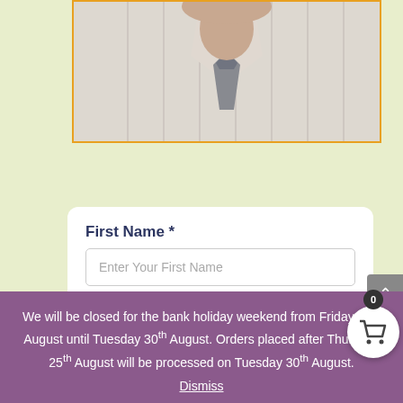[Figure (photo): Close-up photo of a man wearing a white striped dress shirt and grey tie, shown from neck/chest area, bordered with orange border]
First Name *
Enter Your First Name
Last Name
We will be closed for the bank holiday weekend from Friday 26th August until Tuesday 30th August. Orders placed after Thursday 25th August will be processed on Tuesday 30th August.
Dismiss